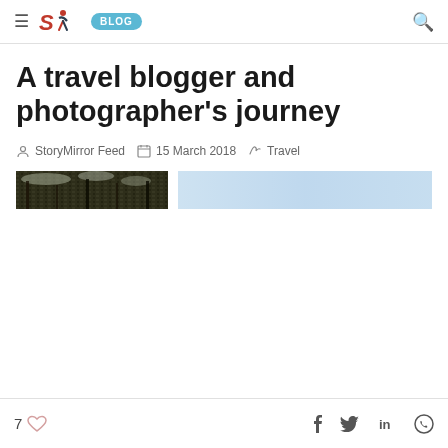≡ STI BLOG 🔍
A travel blogger and photographer's journey
StoryMirror Feed  15 March 2018  Travel
[Figure (photo): Two-part image strip: left portion shows a dark nature/forest photo, right portion is a blurred light blue/grey rectangle]
7 ♡   f  𝕥  in  ⊙